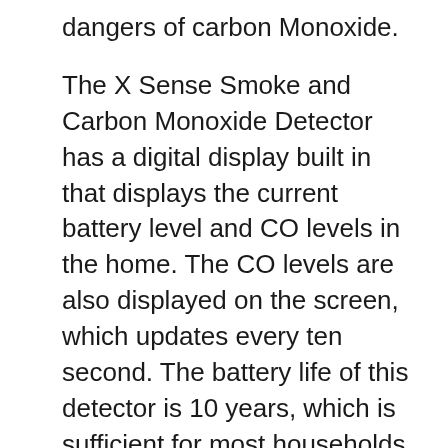dangers of carbon Monoxide.
The X Sense Smoke and Carbon Monoxide Detector has a digital display built in that displays the current battery level and CO levels in the home. The CO levels are also displayed on the screen, which updates every ten second. The battery life of this detector is 10 years, which is sufficient for most households. The detector's display changes colors according to its battery level. The green indicator indicates that the alarm is working and the yellow or red LED indicates the battery's low.
The X Sense SC06-W Smoke and Carbon Monoxide Detector has wireless features. It comes with screws and a circular bracket. It